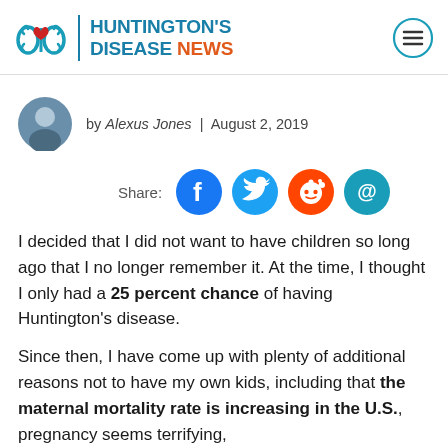HUNTINGTON'S DISEASE NEWS
by Alexus Jones | August 2, 2019
[Figure (infographic): Social share buttons: Facebook, Twitter, Reddit, Email]
I decided that I did not want to have children so long ago that I no longer remember it. At the time, I thought I only had a 25 percent chance of having Huntington's disease.
Since then, I have come up with plenty of additional reasons not to have my own kids, including that the maternal mortality rate is increasing in the U.S., pregnancy seems terrifying,